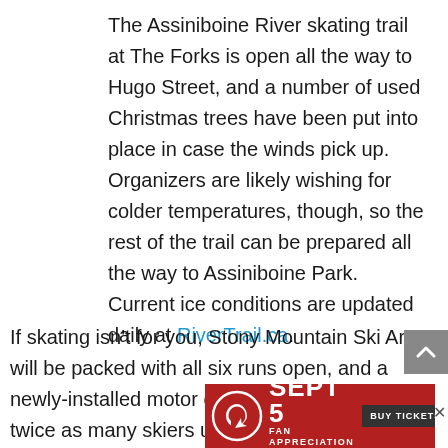The Assiniboine River skating trail at The Forks is open all the way to Hugo Street, and a number of used Christmas trees have been put into place in case the winds pick up. Organizers are likely wishing for colder temperatures, though, so the rest of the trail can be prepared all the way to Assiniboine Park. Current ice conditions are updated daily at RiverTrail.ca.
If skating isn't for you, Stony Mountain Ski Area will be packed with all six runs open, and a newly-installed motor on the tow rope to haul twice as many skiers up the skill, said operator Heath[er...] area [operator...]
[Figure (other): Advertisement banner: SEPT 5 FAN APPRECIATION DAY with BUY TICKETS button and a decorative logo on red background]